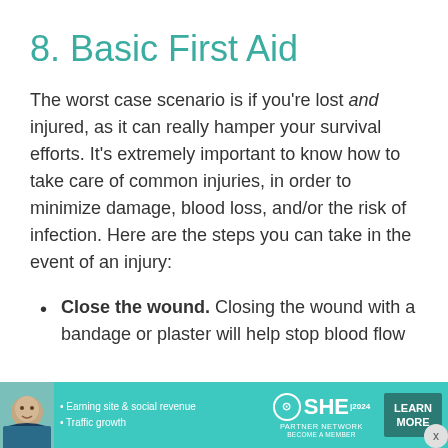8. Basic First Aid
The worst case scenario is if you're lost and injured, as it can really hamper your survival efforts. It's extremely important to know how to take care of common injuries, in order to minimize damage, blood loss, and/or the risk of infection. Here are the steps you can take in the event of an injury:
Close the wound. Closing the wound with a bandage or plaster will help stop blood flow
[Figure (infographic): Advertisement banner for SHE Media Partner Network showing a woman, bullet points about earning site & social revenue and traffic growth, the SHE logo, and a Learn More button]